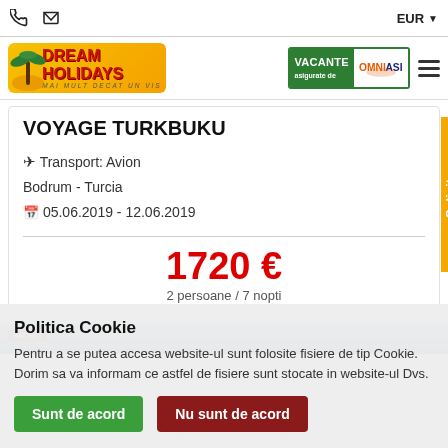EUR
[Figure (logo): Dream Holidays logo with palm trees and sunset, text 'Mai Mult Decat Un Vis']
[Figure (logo): Vacante asigurate de Omniasig logo]
VOYAGE TURKBUKU
✈ Transport: Avion
Bodrum - Turcia
📅 05.06.2019 - 12.06.2019
1720 €
2 persoane / 7 nopti
[Figure (photo): Bottom partial photograph of a travel destination]
Politica Cookie
Pentru a se putea accesa website-ul sunt folosite fisiere de tip Cookie. Dorim sa va informam ce astfel de fisiere sunt stocate in website-ul Dvs.
Sunt de acord | Nu sunt de acord